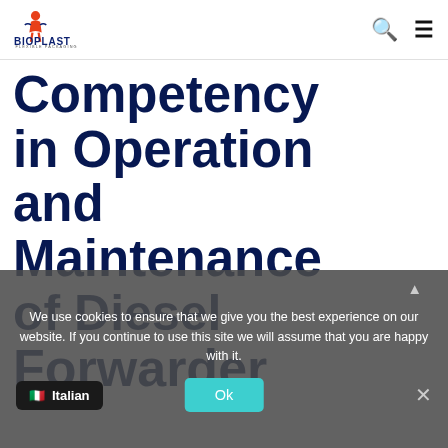[Figure (logo): Bioplast Flexible Packaging logo with stylized figure and text]
Competency in Operation and Maintenance of Diesel Forwarder
We use cookies to ensure that we give you the best experience on our website. If you continue to use this site we will assume that you are happy with it.
Italian   Ok